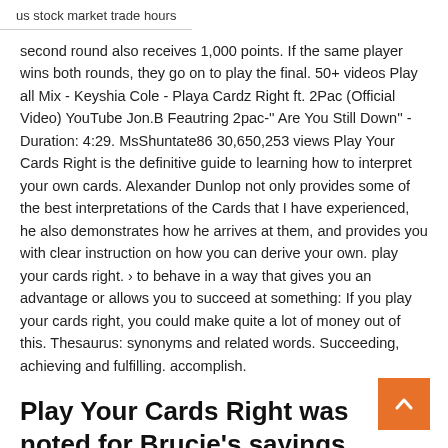us stock market trade hours
second round also receives 1,000 points. If the same player wins both rounds, they go on to play the final. 50+ videos Play all Mix - Keyshia Cole - Playa Cardz Right ft. 2Pac (Official Video) YouTube Jon.B Feautring 2pac-'' Are You Still Down'' - Duration: 4:29. MsShuntate86 30,650,253 views Play Your Cards Right is the definitive guide to learning how to interpret your own cards. Alexander Dunlop not only provides some of the best interpretations of the Cards that I have experienced, he also demonstrates how he arrives at them, and provides you with clear instruction on how you can derive your own. play your cards right. › to behave in a way that gives you an advantage or allows you to succeed at something: If you play your cards right, you could make quite a lot of money out of this. Thesaurus: synonyms and related words. Succeeding, achieving and fulfilling. accomplish.
Play Your Cards Right was noted for Brucie's sayings,